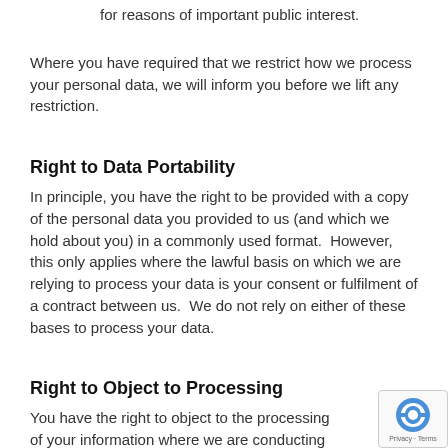for reasons of important public interest.
Where you have required that we restrict how we process your personal data, we will inform you before we lift any restriction.
Right to Data Portability
In principle, you have the right to be provided with a copy of the personal data you provided to us (and which we hold about you) in a commonly used format.  However, this only applies where the lawful basis on which we are relying to process your data is your consent or fulfilment of a contract between us.  We do not rely on either of these bases to process your data.
Right to Object to Processing
You have the right to object to the processing of your information where we are conducting that processing on the basis of our legitimate interests.